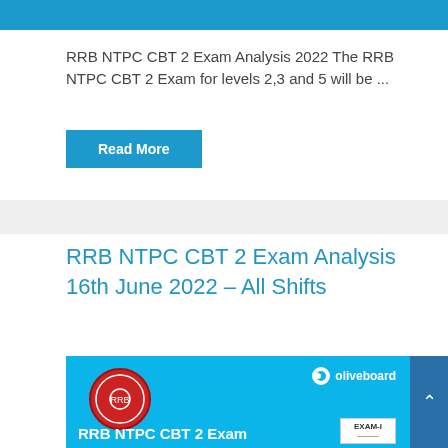[Figure (other): Blue header bar at top of article card]
RRB NTPC CBT 2 Exam Analysis 2022 The RRB NTPC CBT 2 Exam for levels 2,3 and 5 will be ...
Read More
RRB NTPC CBT 2 Exam Analysis 16th June 2022 – All Shifts
[Figure (illustration): Blue promotional banner for RRB NTPC CBT 2 Exam showing RRB logo circle on left, oliveboard logo top right, RRB NTPC CBT 2 Exam text at bottom left, EXAM-I badge at bottom right]